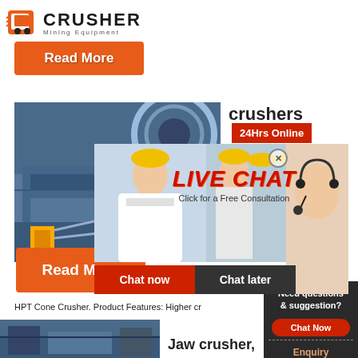[Figure (logo): Crusher Mining Equipment logo with shopping bag icon]
Read More
[Figure (photo): Industrial HPT Cone Crusher equipment]
crushers
24Hrs Online
[Figure (screenshot): Live Chat popup overlay with workers and buttons: Chat now, Chat later]
HPT Cone Crusher. Product Features: Higher cr
Read More
Need questions & suggestion? Chat Now
Enquiry
limingjlmofen@sina.com
[Figure (photo): Jaw crusher equipment photo]
Jaw crusher,